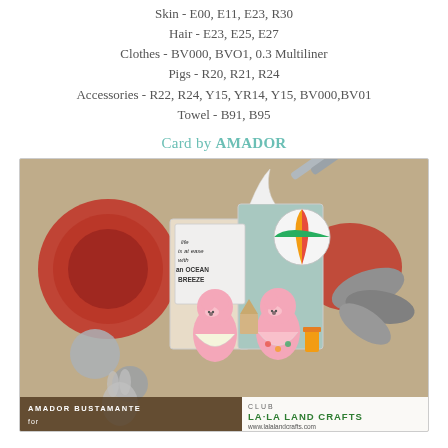Skin - E00, E11, E23, R30
Hair - E23, E25, E27
Clothes - BV000, BVO1, 0.3 Multiliner
Pigs - R20, R21, R24
Accessories - R22, R24, Y15, YR14, Y15, BV000,BV01
Towel - B91, B95
Card by AMADOR
[Figure (photo): Crafting card scene showing pig stamps with beach theme items, beach ball, pigs in floral outfits, red embossed items, silver die-cuts, with 'AMADOR BUSTAMANTE for CLUB LA-LA LAND CRAFTS www.lalalandcrafts.com' overlay text. Life is at ease with an ocean breeze tag visible.]